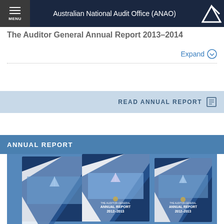Australian National Audit Office (ANAO)
The Auditor General Annual Report 2013–2014
Expand
READ ANNUAL REPORT
ANNUAL REPORT
[Figure (photo): Three overlapping ANAO Auditor-General Annual Report 2012-2013 booklets with blue diagonal design and Parliament House image on the covers]